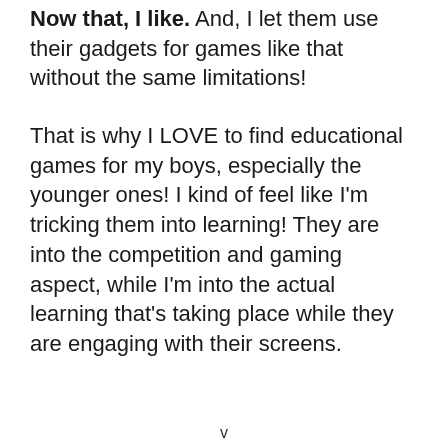Now that, I like. And, I let them use their gadgets for games like that without the same limitations!
That is why I LOVE to find educational games for my boys, especially the younger ones! I kind of feel like I'm tricking them into learning! They are into the competition and gaming aspect, while I'm into the actual learning that's taking place while they are engaging with their screens.
v